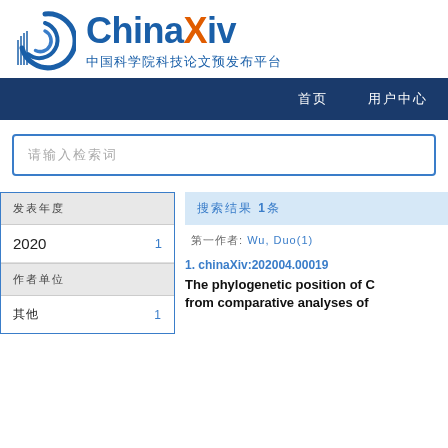[Figure (logo): ChinaXiv logo with spiral icon, text ChinaXiv in blue and orange, subtitle in Chinese: 中国科学院科技论文预发布平台]
首页  用户中心
请输入检索词
发表年度
2020  1
作者单位
其他  1
搜索结果 1条
第一作者: Wu, Duo(1)
1. chinaXiv:202004.00019
The phylogenetic position of C from comparative analyses of